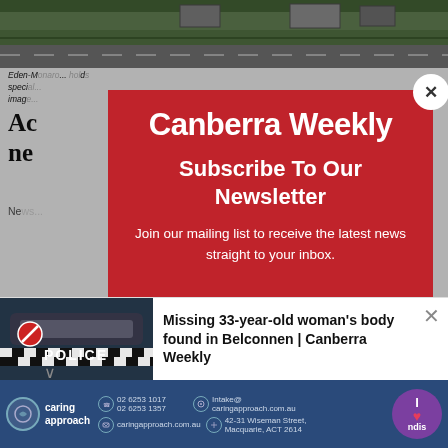[Figure (photo): Background photo of a highway with billboards visible, green landscape]
Eden-M... special... image...
Ac... m ne...
Ne...
[Figure (screenshot): Canberra Weekly newsletter subscription modal popup with red background. Shows 'Canberra Weekly' logo, 'Subscribe To Our Newsletter' heading, and 'Join our mailing list to receive the latest news straight to your inbox.' text. Has a white X close button.]
All p... the
[Figure (photo): Police car with POLICE text visible, notification bar for missing woman article]
Missing 33-year-old woman's body found in Belconnen | Canberra Weekly
[Figure (infographic): Caring Approach advertisement banner with logo, contact details (02 6253 1017, 02 6253 1357, caringapproach.com.au) address (42-31 Wiseman Street, Macquarie, ACT 2614) and I love NDIS logo]